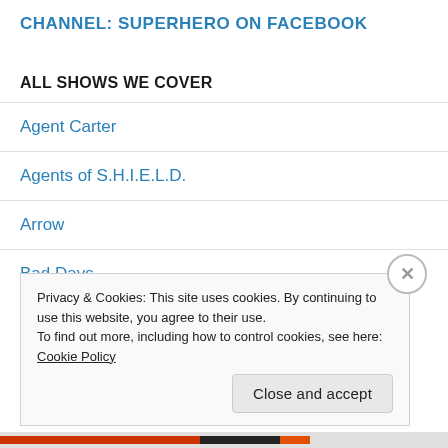CHANNEL: SUPERHERO ON FACEBOOK
ALL SHOWS WE COVER
Agent Carter
Agents of S.H.I.E.L.D.
Arrow
Bad Days
Privacy & Cookies: This site uses cookies. By continuing to use this website, you agree to their use.
To find out more, including how to control cookies, see here: Cookie Policy
Close and accept